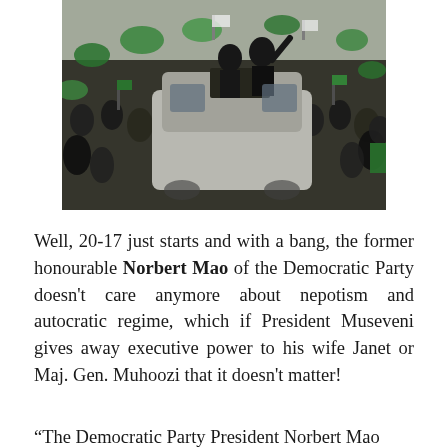[Figure (photo): Aerial/crowd-level photo of a large political rally crowd with green flags and banners, featuring a vehicle with people standing through the sunroof waving to the crowd.]
Well, 20-17 just starts and with a bang, the former honourable Norbert Mao of the Democratic Party doesn't care anymore about nepotism and autocratic regime, which if President Museveni gives away executive power to his wife Janet or Maj. Gen. Muhoozi that it doesn't matter!
“The Democratic Party President Norbert Mao...